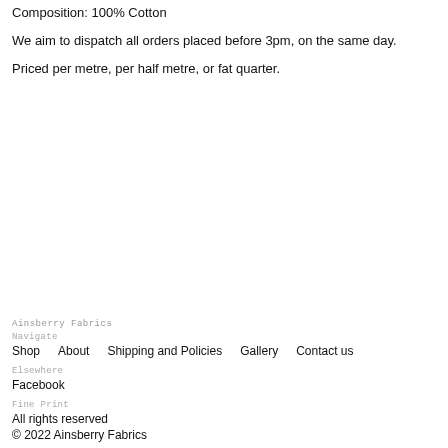Composition: 100% Cotton
We aim to dispatch all orders placed before 3pm, on the same day.
Priced per metre, per half metre, or fat quarter.
Ainsberry Fabrics
Navigate
Shop   About   Shipping and Policies   Gallery   Contact us
Elsewhere
Facebook
Fine Print
All rights reserved
© 2022 Ainsberry Fabrics